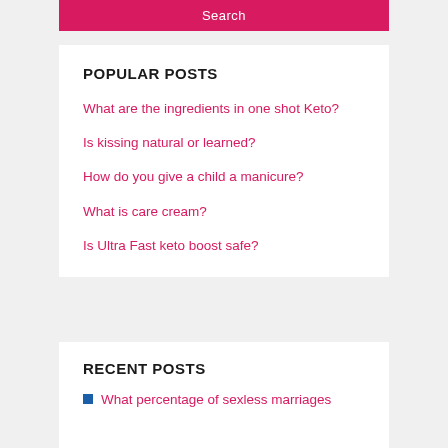Search
POPULAR POSTS
What are the ingredients in one shot Keto?
Is kissing natural or learned?
How do you give a child a manicure?
What is care cream?
Is Ultra Fast keto boost safe?
RECENT POSTS
What percentage of sexless marriages